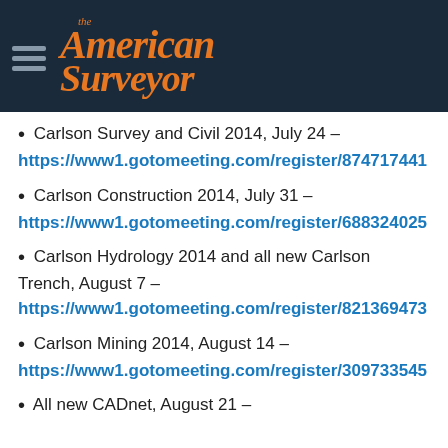The American Surveyor
Carlson Survey and Civil 2014, July 24 – https://www1.gotomeeting.com/register/874717441
Carlson Construction 2014, July 31 – https://www1.gotomeeting.com/register/688324025
Carlson Hydrology 2014 and all new Carlson Trench, August 7 – https://www1.gotomeeting.com/register/821369473
Carlson Mining 2014, August 14 – https://www1.gotomeeting.com/register/309733545
All new CADnet, August 21 –